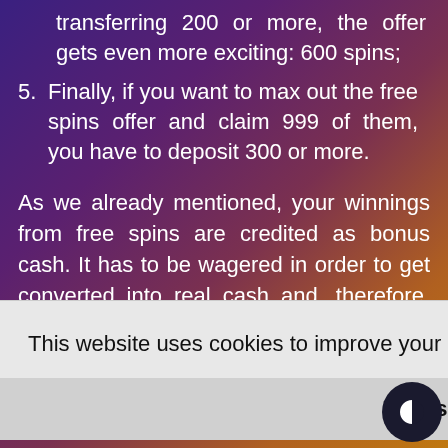transferring 200 or more, the offer gets even more exciting: 600 spins;
5. Finally, if you want to max out the free spins offer and claim 999 of them, you have to deposit 300 or more.
As we already mentioned, your winnings from free spins are credited as bonus cash. It has to be wagered in order to get converted into real cash and, therefore, become withdrawable
This website uses cookies to improve your experience.  Privacy Policy
That's OK
nd free
slots. You are being offered over 700 different slot